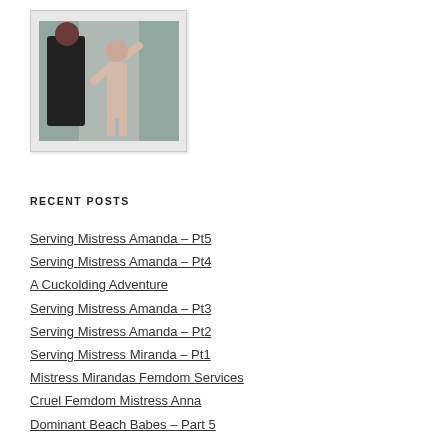[Figure (photo): A photo showing two figures, one in dark clothing and one without, in what appears to be a dungeon or bondage scene setting.]
RECENT POSTS
Serving Mistress Amanda – Pt5
Serving Mistress Amanda – Pt4
A Cuckolding Adventure
Serving Mistress Amanda – Pt3
Serving Mistress Amanda – Pt2
Serving Mistress Miranda – Pt1
Mistress Mirandas Femdom Services
Cruel Femdom Mistress Anna
Dominant Beach Babes – Part 5